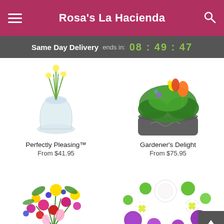Rosa's La Hacienda
Same Day Delivery ends in: 08 : 49 : 47
[Figure (photo): White daisy flowers in a clear glass round vase]
Perfectly Pleasing™
From $41.95
[Figure (photo): Colorful garden arrangement with tulips and greenery in a dark decorative pot]
Gardener's Delight
From $75.95
[Figure (photo): Bright colorful mixed bouquet with yellow, pink, red, purple flowers in a vase]
[Figure (photo): White roses, white daisies, purple chrysanthemums and green flowers bouquet]